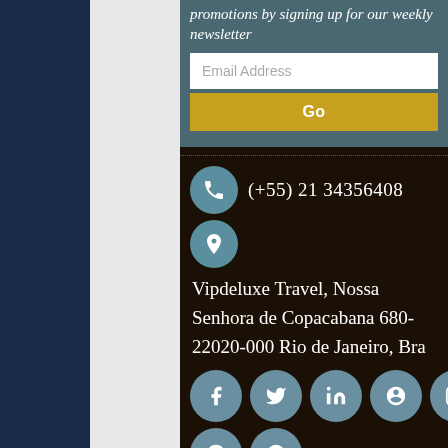promotions by signing up for our weekly newsletter
Email Address
Go
(+55) 21 34356408
Vipdeluxe Travel, Nossa Senhora de Copacabana 680- 22020-000 Rio de Janeiro, Bra
[Figure (infographic): Social media icon buttons: Facebook, Twitter, LinkedIn, Pinterest, Instagram, Skype, Flickr]